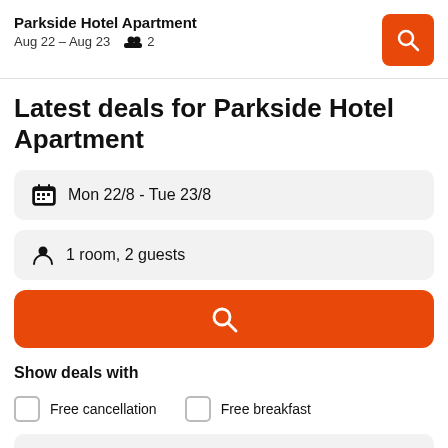Parkside Hotel Apartment — Aug 22 – Aug 23, 2 guests
Latest deals for Parkside Hotel Apartment
Mon 22/8 - Tue 23/8
1 room, 2 guests
[Figure (other): Orange search button]
Show deals with
Free cancellation   Free breakfast
Standard Room